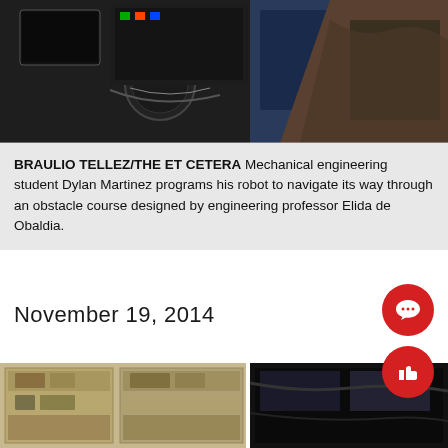[Figure (photo): Top portion of a photo showing a mechanical engineering student working with a robot and electronic equipment on a lab bench]
BRAULIO TELLEZ/THE ET CETERA Mechanical engineering student Dylan Martinez programs his robot to navigate its way through an obstacle course designed by engineering professor Elida de Obaldia.
November 19, 2014
[Figure (photo): Bottom photo showing shelving units with electronics equipment and a dark object on the right side]